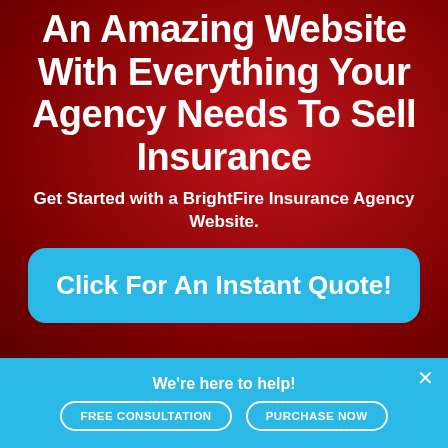An Amazing Website With Everything Your Agency Needs To Sell Insurance
Get Started with a BrightFire Insurance Agency Website.
Click For An Instant Quote!
We're here to help!
FREE CONSULTATION
PURCHASE NOW